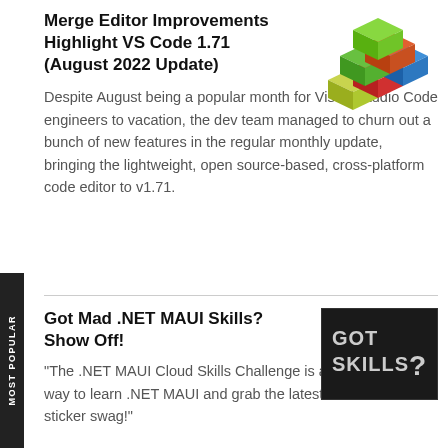Merge Editor Improvements Highlight VS Code 1.71 (August 2022 Update)
[Figure (illustration): Colorful stacked toy building blocks pyramid — green, red, blue cubes]
Despite August being a popular month for Visual Studio Code engineers to vacation, the dev team managed to churn out a bunch of new features in the regular monthly update, bringing the lightweight, open source-based, cross-platform code editor to v1.71.
MOST POPULAR
Got Mad .NET MAUI Skills? Show Off!
[Figure (photo): Dark chalkboard background with text 'GOT SKILLS?' in bold letters]
"The .NET MAUI Cloud Skills Challenge is a fun and exciting way to learn .NET MAUI and grab the latest .NET MAUI sticker swag!"